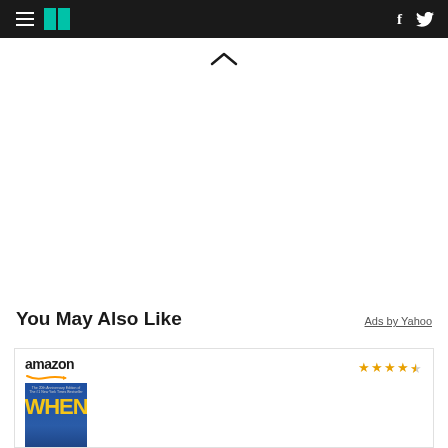HuffPost navigation with hamburger menu, logo, Facebook and Twitter icons
[Figure (other): Chevron/caret up symbol indicating scroll up]
You May Also Like
Ads by Yahoo
[Figure (other): Amazon advertisement card showing a book cover with 'WHEN' title and 3.5 star rating]